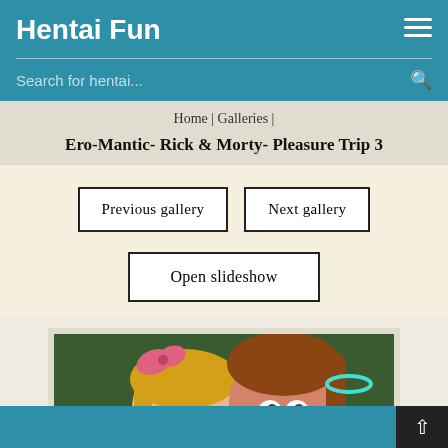Hentai Fun
Search for hentai...
Home | Galleries |
Ero-Mantic- Rick & Morty- Pleasure Trip 3
Previous gallery
Next gallery
Open slideshow
[Figure (illustration): Anime-style illustration showing two cartoon female characters close together, one with blonde hair and glasses, one with brown/red hair, colorful cartoon style]